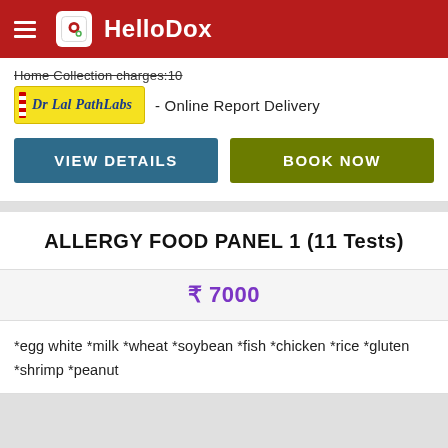HelloDox
Home Collection charges:
- Online Report Delivery
[Figure (logo): Dr Lal PathLabs logo on yellow sticky note background]
VIEW DETAILS
BOOK NOW
ALLERGY FOOD PANEL 1 (11 Tests)
₹ 7000
*egg white *milk *wheat *soybean *fish *chicken *rice *gluten *shrimp *peanut